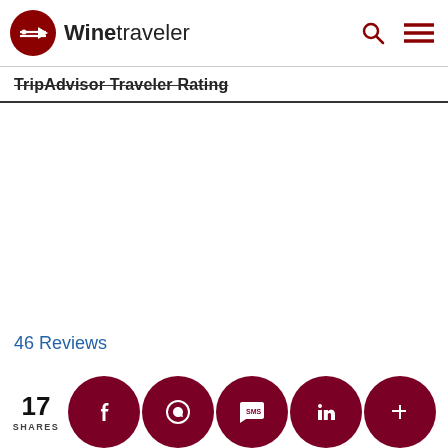Winetraveler
TripAdvisor Traveler Rating
46 Reviews
17 SHARES